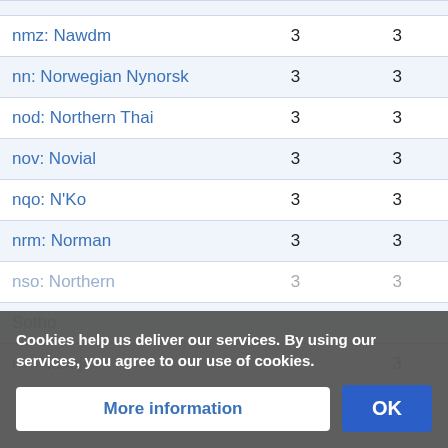| Language |  |  |
| --- | --- | --- |
| nmz: Nawdm | 3 | 3 |
| nn: Norwegian Nynorsk | 3 | 3 |
| nod: Northern Thai | 3 | 3 |
| nov: Novial | 3 | 3 |
| nqo: N'Ko | 3 | 3 |
| nrm: Norman | 3 | 3 |
| nso: Northern Sotho | 3 | 3 |
| nv: Navajo | 3 | 3 |
Cookies help us deliver our services. By using our services, you agree to our use of cookies.